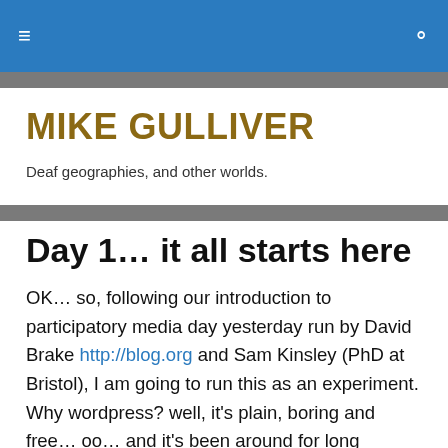MIKE GULLIVER — navigation bar with hamburger menu and search icon
MIKE GULLIVER
Deaf geographies, and other worlds.
Day 1… it all starts here
OK… so, following our introduction to participatory media day yesterday run by David Brake http://blog.org and Sam Kinsley (PhD at Bristol), I am going to run this as an experiment. Why wordpress? well, it's plain, boring and free… oo… and it's been around for long enough to be tied into all the different search engines, tagging systems and everything else that we were told we might need.